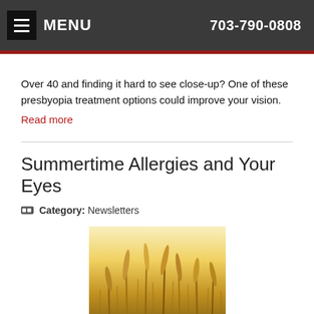MENU  703-790-0808
Over 40 and finding it hard to see close-up? One of these presbyopia treatment options could improve your vision.
Read more
Summertime Allergies and Your Eyes
Category: Newsletters
[Figure (photo): Photo of golden grass or wheat stalks backlit by warm sunlight, representing summertime allergens.]